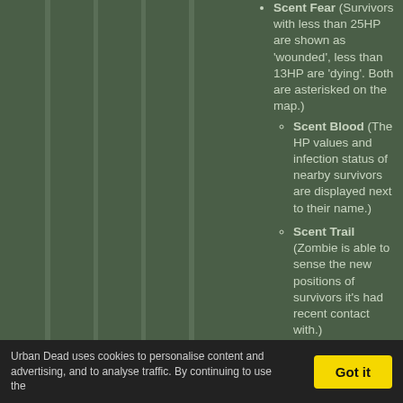Scent Fear (Survivors with less than 25HP are shown as 'wounded', less than 13HP are 'dying'. Both are asterisked on the map.)
Scent Blood (The HP values and infection status of nearby survivors are displayed next to their name.)
Scent Trail (Zombie is able to sense the new positions of survivors it's had recent contact with.)
Scent Death (Zombie can sense nearby zombies a...
Urban Dead uses cookies to personalise content and advertising, and to analyse traffic. By continuing to use the